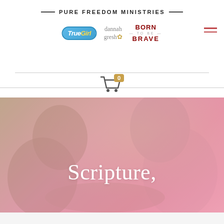PURE FREEDOM MINISTRIES
[Figure (logo): TrueGirl logo - blue rounded pill shape with white italic text]
[Figure (logo): dannah gresh logo with sunflower icon]
[Figure (logo): BORN TO BE BRAVE logo in dark red bold text]
[Figure (illustration): Shopping cart icon with badge showing 0]
[Figure (photo): Hero image showing people reading, overlaid with pink/mauve gradient tint, with text 'Scripture,' in white serif font]